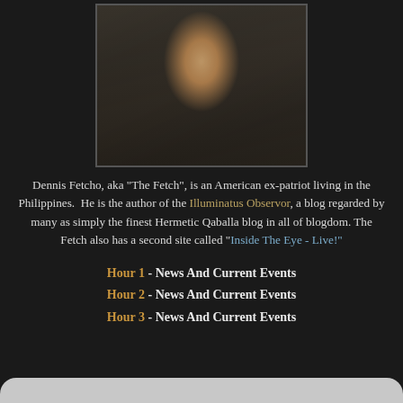[Figure (photo): Portrait photo of a man wearing a patterned short-sleeve shirt, standing outdoors near a vehicle]
Dennis Fetcho, aka "The Fetch", is an American ex-patriot living in the Philippines.  He is the author of the Illuminatus Observor, a blog regarded by many as simply the finest Hermetic Qaballa blog in all of blogdom. The Fetch also has a second site called "Inside The Eye - Live!"
Hour 1 - News And Current Events
Hour 2 - News And Current Events
Hour 3 - News And Current Events